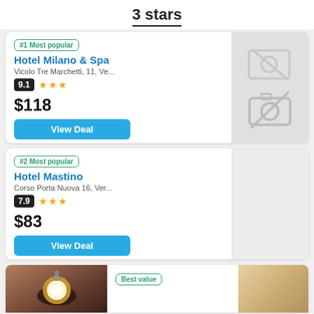3 stars
#1 Most popular
Hotel Milano & Spa
Vicolo Tre Marchetti, 11, Ve...
9.1 ★★★
$118
View Deal
[Figure (other): No photo available placeholder icon]
#2 Most popular
Hotel Mastino
Corso Porta Nuova 16, Ver...
7.9 ★★★
$83
View Deal
[Figure (photo): Hotel room ceiling with spotlight lamp]
Best value
[Figure (photo): Partial hotel room photo on right side]